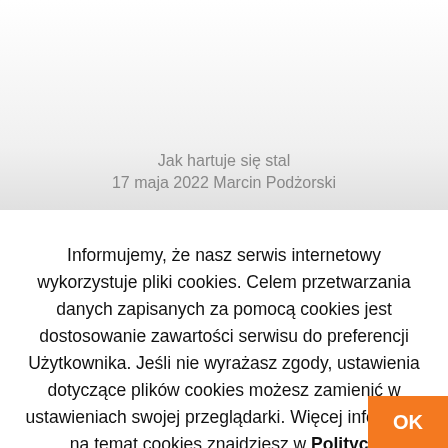Jak hartuje się stal
17 maja 2022 Marcin Podżorski
Informujemy, że nasz serwis internetowy wykorzystuje pliki cookies. Celem przetwarzania danych zapisanych za pomocą cookies jest dostosowanie zawartości serwisu do preferencji Użytkownika. Jeśli nie wyrażasz zgody, ustawienia dotyczące plików cookies możesz zamienić w ustawieniach swojej przeglądarki. Więcej informacji na temat cookies znajdziesz w Polityce Prywatności
OK